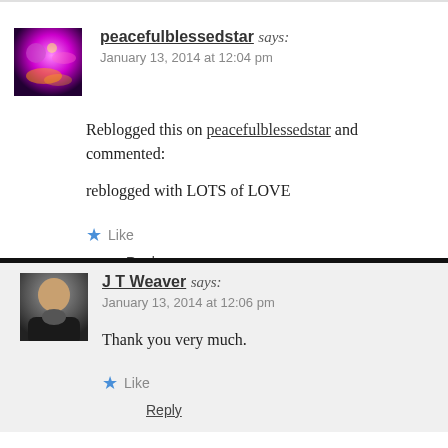peacefulblessedstar says: January 13, 2014 at 12:04 pm
Reblogged this on peacefulblessedstar and commented:
reblogged with LOTS of LOVE
Like
Reply
J T Weaver says: January 13, 2014 at 12:06 pm
Thank you very much.
Like
Reply